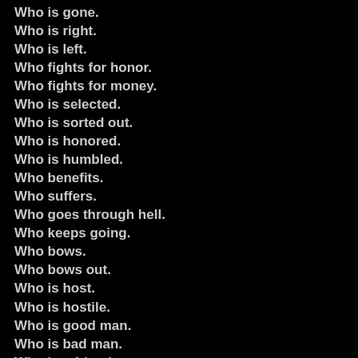Who is gone.
Who is right.
Who is left.
Who fights for honor.
Who fights for money.
Who is selected.
Who is sorted out.
Who is honored.
Who is humbled.
Who benefits.
Who suffers.
Who goes through hell.
Who keeps going.
Who bows.
Who bows out.
Who is host.
Who is hostile.
Who is good man.
Who is bad man.
Who is a friend.
Who is an enemy.
Who is hired.
Who is fired.
Who steps up.
Who steps down.